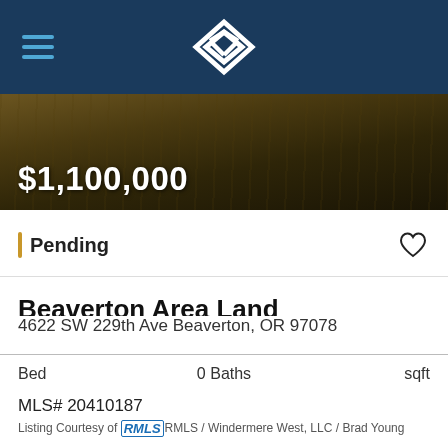Navigation bar with hamburger menu and Windermere logo
[Figure (photo): Hero image of land/field with dark brown earth tones]
$1,100,000
Pending
Beaverton Area Land
4622 SW 229th Ave Beaverton, OR 97078
| Bed | 0 Baths | sqft |
| --- | --- | --- |
MLS# 20410187
Listing Courtesy of RMLS RMLS / Windermere West, LLC / Brad Young